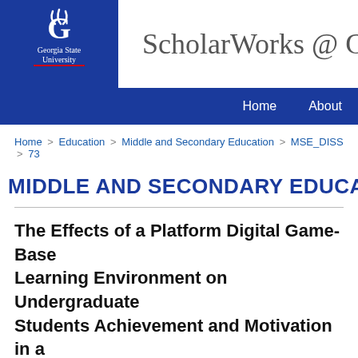[Figure (logo): Georgia State University logo — white text and flame icon on dark blue background]
ScholarWorks @ G
Home   About
Home > Education > Middle and Secondary Education > MSE_DISS > 73
MIDDLE AND SECONDARY EDUCA
The Effects of a Platform Digital Game-Based Learning Environment on Undergraduate Students Achievement and Motivation in a Multivariable Calculus Course
Authors